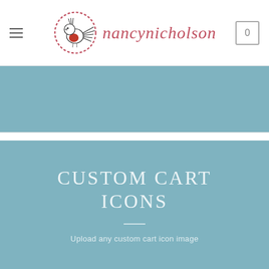nancynicholson — website header with logo, hamburger menu, and cart icon showing 0
[Figure (screenshot): Blue banner section (top blue area below header)]
[Figure (screenshot): Blue banner section with text CUSTOM CART ICONS and subtitle Upload any custom cart icon image]
CUSTOM CART ICONS
Upload any custom cart icon image